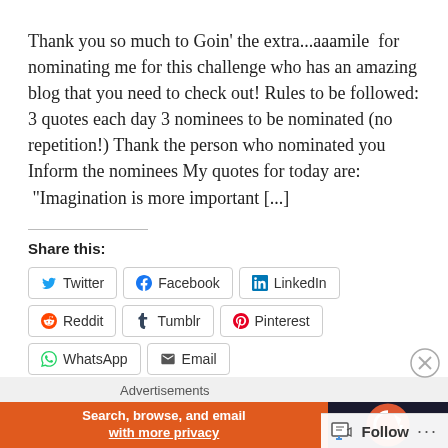Thank you so much to Goin' the extra...aaamile  for nominating me for this challenge who has an amazing blog that you need to check out! Rules to be followed: 3 quotes each day 3 nominees to be nominated (no repetition!) Thank the person who nominated you Inform the nominees My quotes for today are:  "Imagination is more important [...]
Share this:
Twitter Facebook LinkedIn Reddit Tumblr Pinterest WhatsApp Email
Advertisements
Search, browse, and email with more privacy
Follow